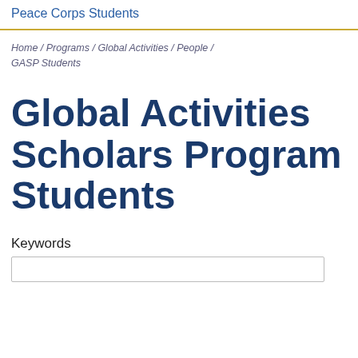Peace Corps Students
Home / Programs / Global Activities / People / GASP Students
Global Activities Scholars Program Students
Keywords